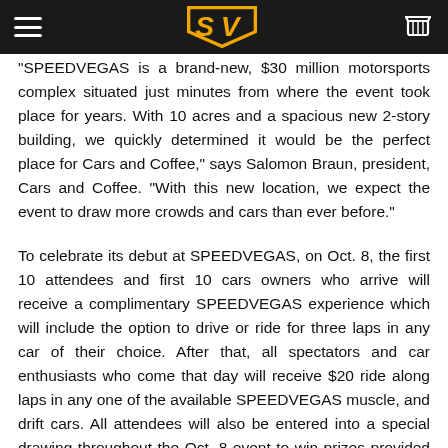SpeedVegas navigation header with hamburger menu, SV logo, and cart icon
"SPEEDVEGAS is a brand-new, $30 million motorsports complex situated just minutes from where the event took place for years. With 10 acres and a spacious new 2-story building, we quickly determined it would be the perfect place for Cars and Coffee," says Salomon Braun, president, Cars and Coffee. "With this new location, we expect the event to draw more crowds and cars than ever before."
To celebrate its debut at SPEEDVEGAS, on Oct. 8, the first 10 attendees and first 10 cars owners who arrive will receive a complimentary SPEEDVEGAS experience which will include the option to drive or ride for three laps in any car of their choice. After that, all spectators and car enthusiasts who come that day will receive $20 ride along laps in any one of the available SPEEDVEGAS muscle, and drift cars. All attendees will also be entered into a special drawing throughout the Oct. 8 event to win prizes provided by Cars and Coffee and SPEEDVEGAS.